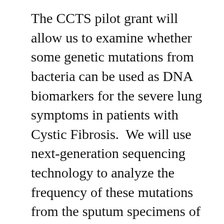The CCTS pilot grant will allow us to examine whether some genetic mutations from bacteria can be used as DNA biomarkers for the severe lung symptoms in patients with Cystic Fibrosis.  We will use next-generation sequencing technology to analyze the frequency of these mutations from the sputum specimens of the patients to see any correction with clinical status can be created.  Establishing this correlation is important, because it will provide valuable information on how to prevent pulmonary exacerbation as well as